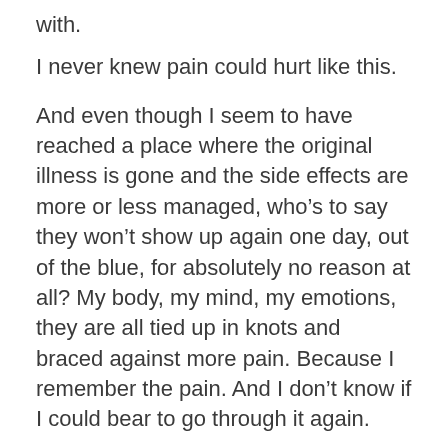with.
I never knew pain could hurt like this.
And even though I seem to have reached a place where the original illness is gone and the side effects are more or less managed, who’s to say they won’t show up again one day, out of the blue, for absolutely no reason at all? My body, my mind, my emotions, they are all tied up in knots and braced against more pain. Because I remember the pain. And I don’t know if I could bear to go through it again.
This was, and continues to be, a huge trauma for me. And I really don’t know how to be with